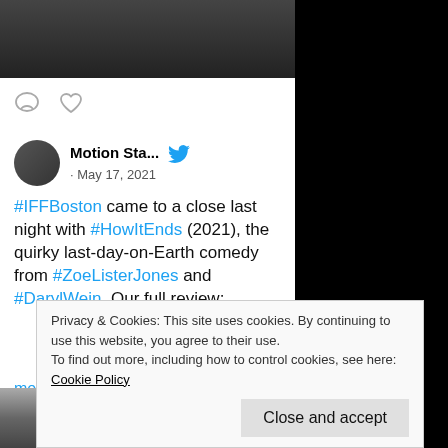[Figure (photo): Dark photo partially visible at top of tweet card]
[Figure (other): Comment and heart icons row]
Motion Sta... · May 17, 2021
#IFFBoston came to a close last night with #HowItEnds (2021), the quirky last-day-on-Earth comedy from #ZoeListerJones and #DarylWein. Our full review:
motionstatereview.com/2021
Privacy & Cookies: This site uses cookies. By continuing to use this website, you agree to their use.
To find out more, including how to control cookies, see here: Cookie Policy
Close and accept
[Figure (photo): Partial photo visible at bottom left]